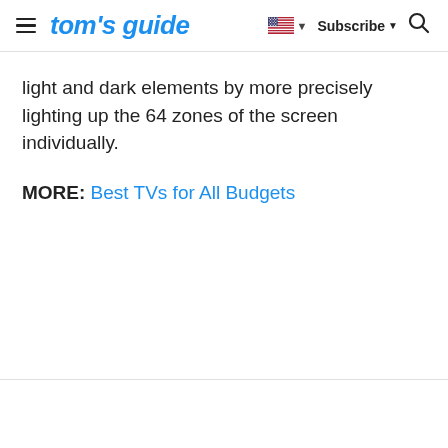tom's guide | Subscribe
light and dark elements by more precisely lighting up the 64 zones of the screen individually.
MORE: Best TVs for All Budgets